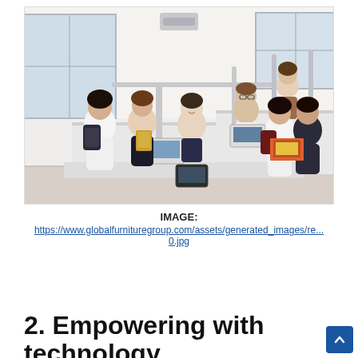[Figure (photo): Office workspace with several people at desks with partitions. Two women standing on the left side, one with a backpack and one holding a folder; a man seated in the middle using a laptop; a woman at a desk in the upper right; two people (a woman and a man) standing on the right side looking at brochures or magazines. The office has large windows with natural light.]
IMAGE:
https://www.globalfurnituregroup.com/assets/generated_images/re...0.jpg
2. Empowering with technology